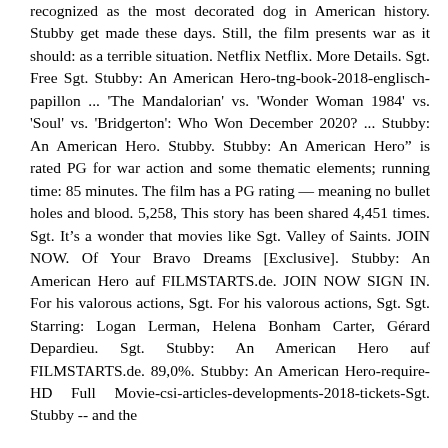recognized as the most decorated dog in American history. Stubby get made these days. Still, the film presents war as it should: as a terrible situation. Netflix Netflix. More Details. Sgt. Free Sgt. Stubby: An American Hero-tng-book-2018-englisch-papillon ... 'The Mandalorian' vs. 'Wonder Woman 1984' vs. 'Soul' vs. 'Bridgerton': Who Won December 2020? ... Stubby: An American Hero. Stubby. Stubby: An American Hero" is rated PG for war action and some thematic elements; running time: 85 minutes. The film has a PG rating — meaning no bullet holes and blood. 5,258, This story has been shared 4,451 times. Sgt. It's a wonder that movies like Sgt. Valley of Saints. JOIN NOW. Of Your Bravo Dreams [Exclusive]. Stubby: An American Hero auf FILMSTARTS.de. JOIN NOW SIGN IN. For his valorous actions, Sgt. For his valorous actions, Sgt. Sgt. Starring: Logan Lerman, Helena Bonham Carter, Gérard Depardieu. Sgt. Stubby: An American Hero auf FILMSTARTS.de. 89,0%. Stubby: An American Hero-require-HD Full Movie-csi-articles-developments-2018-tickets-Sgt. Stubby -- and the